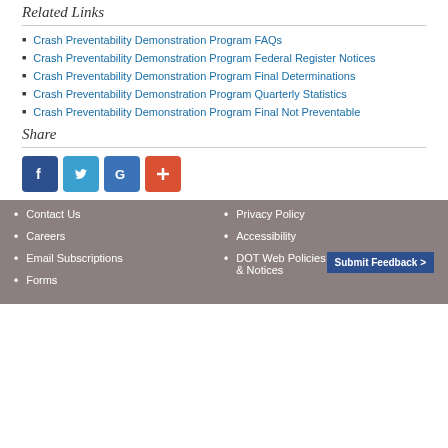Related Links
Crash Preventability Demonstration Program FAQs
Crash Preventability Demonstration Program Federal Register Notices
Crash Preventability Demonstration Program Final Determinations
Crash Preventability Demonstration Program Quarterly Statistics
Crash Preventability Demonstration Program Final Not Preventable
Share
[Figure (infographic): Social media share buttons: Facebook (dark blue), Twitter (light blue), Google+ (medium blue), Plus/More (orange-red)]
Contact Us
Careers
Email Subscriptions
Forms
Privacy Policy
Accessibility
DOT Web Policies & Notices